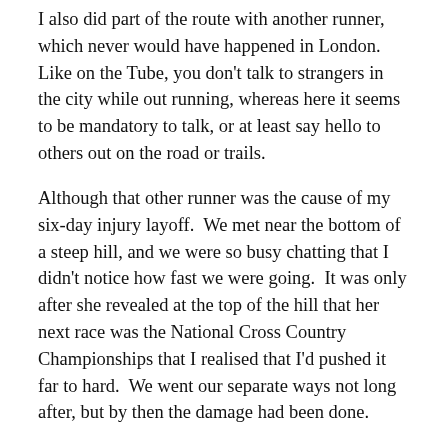I also did part of the route with another runner, which never would have happened in London.  Like on the Tube, you don't talk to strangers in the city while out running, whereas here it seems to be mandatory to talk, or at least say hello to others out on the road or trails.
Although that other runner was the cause of my six-day injury layoff.  We met near the bottom of a steep hill, and we were so busy chatting that I didn't notice how fast we were going.  It was only after she revealed at the top of the hill that her next race was the National Cross Country Championships that I realised that I'd pushed it far to hard.  We went our separate ways not long after, but by then the damage had been done.
Still, the one benefit of the injury was that it allowed me to try out my new training strategy.  Unlike in previous years, where I had a meticulously structured training plan and obsessed over keeping to it, this time I'm just going to listen to my body, push it harder when I feel up to it, but also give myself